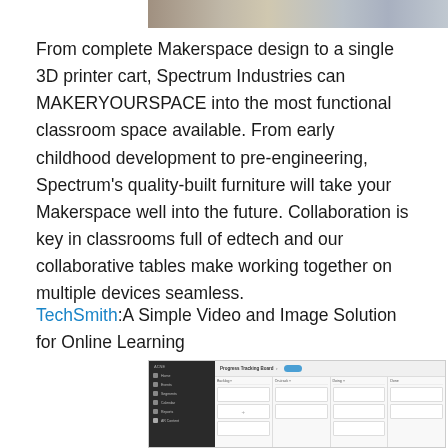[Figure (photo): Partial view of a group photo showing people in a Makerspace or classroom environment]
From complete Makerspace design to a single 3D printer cart, Spectrum Industries can MAKERYOURSPACE into the most functional classroom space available. From early childhood development to pre-engineering, Spectrum's quality-built furniture will take your Makerspace well into the future. Collaboration is key in classrooms full of edtech and our collaborative tables make working together on multiple devices seamless.
TechSmith:A Simple Video and Image Solution for Online Learning
[Figure (screenshot): Screenshot of a TechSmith application showing a Progress Tracking Board with sidebar navigation and kanban-style columns including Backlog, On-track, Doing, and Done]